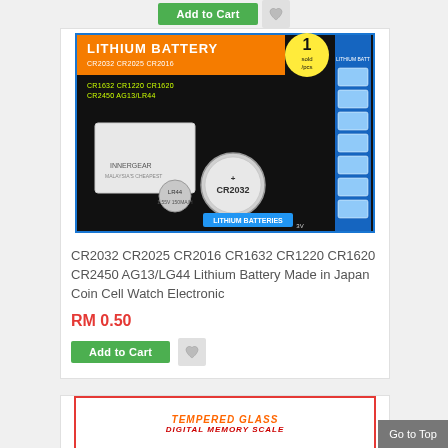[Figure (screenshot): Add to Cart button with heart/wishlist icon at the top of the page]
[Figure (photo): Lithium Battery product image showing CR2032 and other coin cell batteries with blue and orange packaging, text reads LITHIUM BATTERY CR2032 CR2025 CR2016 CR1632 CR1220 CR1620 CR2450 AG13/LR44, 1 sold/pcs]
CR2032 CR2025 CR2016 CR1632 CR1220 CR1620 CR2450 AG13/LG44 Lithium Battery Made in Japan Coin Cell Watch Electronic
RM 0.50
[Figure (screenshot): Add to Cart green button with heart/wishlist icon]
[Figure (photo): Partial product image at bottom showing TEMPERED GLASS text in orange/red with decorative border, partially visible]
Go to Top